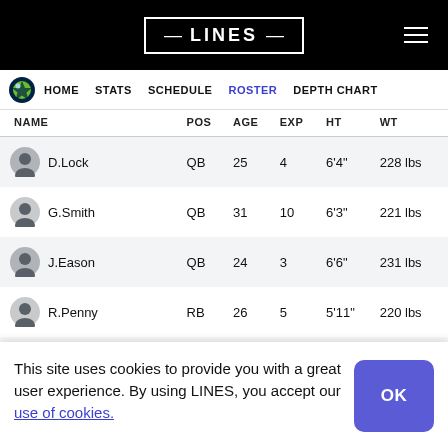LINES — navigation header with hamburger menu
HOME  STATS  SCHEDULE  ROSTER  DEPTH CHART
| NAME | POS | AGE | EXP | HT | WT |
| --- | --- | --- | --- | --- | --- |
| D.Lock | QB | 25 | 4 | 6'4" | 228 lbs |
| G.Smith | QB | 31 | 10 | 6'3" | 221 lbs |
| J.Eason | QB | 24 | 3 | 6'6" | 231 lbs |
| R.Penny | RB | 26 | 5 | 5'11" | 220 lbs |
| K.Walker III | RB | 21 | R | 5'8" | 211 lbs |
This site uses cookies to provide you with a great user experience. By using LINES, you accept our use of cookies.